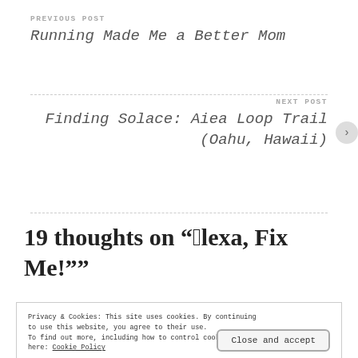PREVIOUS POST
Running Made Me a Better Mom
NEXT POST
Finding Solace: Aiea Loop Trail (Oahu, Hawaii)
19 thoughts on "“Alexa, Fix Me!”"
Privacy & Cookies: This site uses cookies. By continuing to use this website, you agree to their use. To find out more, including how to control cookies, see here: Cookie Policy
Close and accept